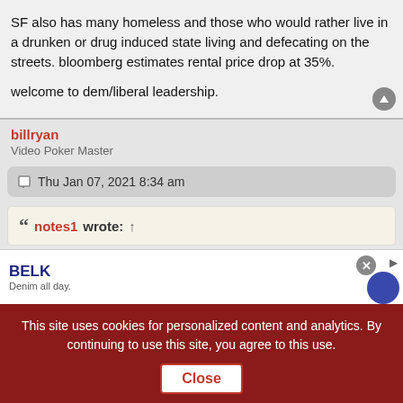SF also has many homeless and those who would rather live in a drunken or drug induced state living and defecating on the streets. bloomberg estimates rental price drop at 35%.

welcome to dem/liberal leadership.
billryan
Video Poker Master
Thu Jan 07, 2021 8:34 am
notes1 wrote: ↑
BELK
Denim all day.
This site uses cookies for personalized content and analytics. By continuing to use this site, you agree to this use. Close